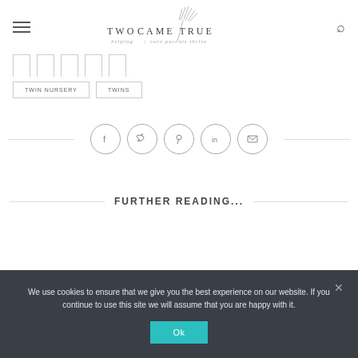TWO CAME TRUE — helping twin parents thrive
TWIN NURSERY
TWINS
[Figure (infographic): Social sharing icons: Facebook, Twitter, Pinterest, LinkedIn, Email in circles with horizontal rules on each side]
FURTHER READING...
We use cookies to ensure that we give you the best experience on our website. If you continue to use this site we will assume that you are happy with it.